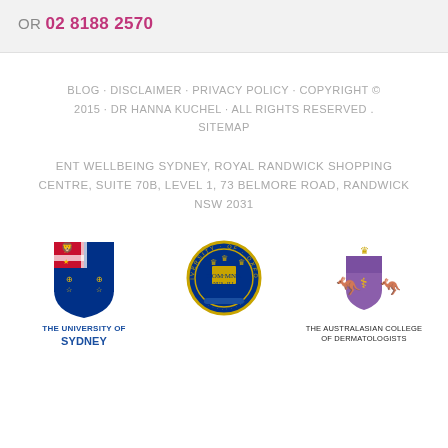OR 02 8188 2570
BLOG · DISCLAIMER · PRIVACY POLICY · COPYRIGHT © 2015 · Dr HANNA KUCHEL · ALL RIGHTS RESERVED . SITEMAP
ENT WELLBEING SYDNEY, ROYAL RANDWICK SHOPPING CENTRE, SUITE 70B, LEVEL 1, 73 BELMORE ROAD, RANDWICK NSW 2031
[Figure (logo): The University of Sydney shield logo with text THE UNIVERSITY OF SYDNEY]
[Figure (logo): University of Oxford circular seal logo]
[Figure (logo): The Australasian College of Dermatologists coat of arms logo]